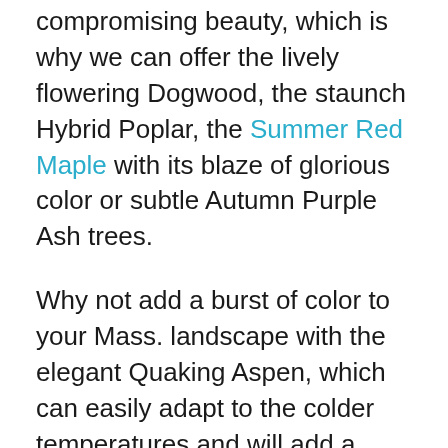compromising beauty, which is why we can offer the lively flowering Dogwood, the staunch Hybrid Poplar, the Summer Red Maple with its blaze of glorious color or subtle Autumn Purple Ash trees.
Why not add a burst of color to your Mass. landscape with the elegant Quaking Aspen, which can easily adapt to the colder temperatures and will add a golden hue. The Autumn Cherry with its huge spring and fall double blooms is equally well suited to hardiness zones 4 and 5.
Why not add privacy and security to your home by planting a row of fast-growing evergreens? These disease-resistant trees combine practicality with beauty to make a great windbreaker. You can choose from our Thuja Emerald Green, Cryptomeria Radicans